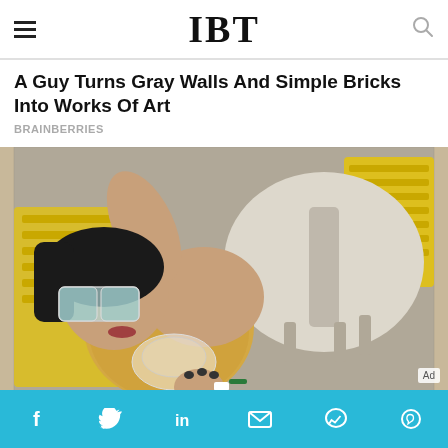IBT
A Guy Turns Gray Walls And Simple Bricks Into Works Of Art
BRAINBERRIES
[Figure (photo): Woman in yellow knit top and futuristic sunglasses lying on a lounge chair by a pool table, with yellow woven chairs in background. She wears a decorative transparent necklace and holds her hand to her chest.]
This Look Is A Two-in-one That You Won't Forget
Social share bar with icons: Facebook, Twitter, LinkedIn, Email, Messenger, WhatsApp